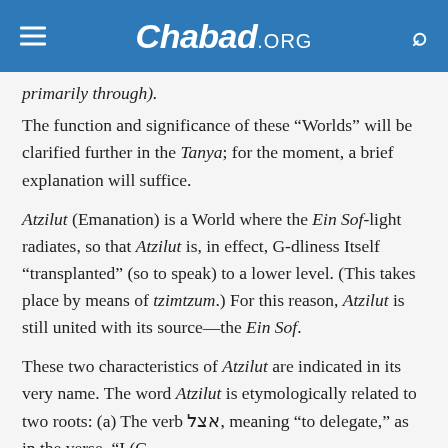Chabad.ORG
primarily through).
The function and significance of these “Worlds” will be clarified further in the Tanya; for the moment, a brief explanation will suffice.
Atzilut (Emanation) is a World where the Ein Sof-light radiates, so that Atzilut is, in effect, G-dliness Itself “transplanted” (so to speak) to a lower level. (This takes place by means of tzimtzum.) For this reason, Atzilut is still united with its source—the Ein Sof.
These two characteristics of Atzilut are indicated in its very name. The word Atzilut is etymologically related to two roots: (a) The verb אצל, meaning “to delegate,” as in the verse, “I (G-